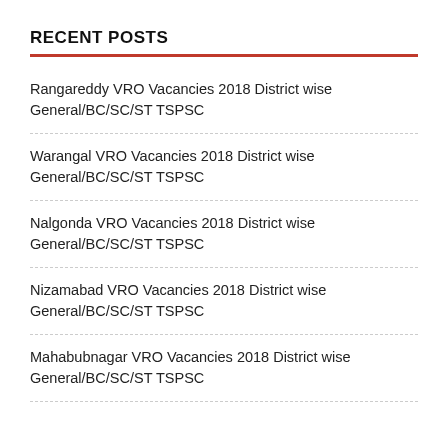RECENT POSTS
Rangareddy VRO Vacancies 2018 District wise General/BC/SC/ST TSPSC
Warangal VRO Vacancies 2018 District wise General/BC/SC/ST TSPSC
Nalgonda VRO Vacancies 2018 District wise General/BC/SC/ST TSPSC
Nizamabad VRO Vacancies 2018 District wise General/BC/SC/ST TSPSC
Mahabubnagar VRO Vacancies 2018 District wise General/BC/SC/ST TSPSC